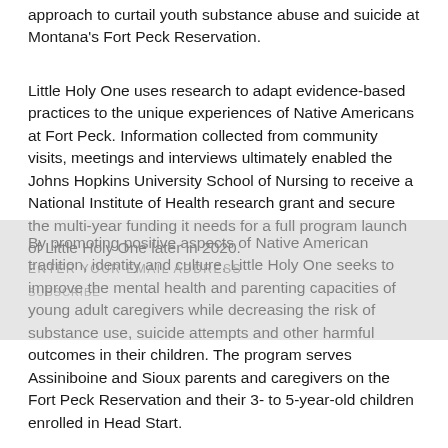approach to curtail youth substance abuse and suicide at Montana's Fort Peck Reservation.
Little Holy One uses research to adapt evidence-based practices to the unique experiences of Native Americans at Fort Peck. Information collected from community visits, meetings and interviews ultimately enabled the Johns Hopkins University School of Nursing to receive a National Institute of Health research grant and secure the multi-year funding it needs for a full program launch of Little Holy One later in 2020.
By promoting positive aspects of Native American tradition, identity and culture, Little Holy One seeks to improve the mental health and parenting capacities of young adult caregivers while decreasing the risk of substance use, suicide attempts and other harmful outcomes in their children. The program serves Assiniboine and Sioux parents and caregivers on the Fort Peck Reservation and their 3- to 5-year-old children enrolled in Head Start.